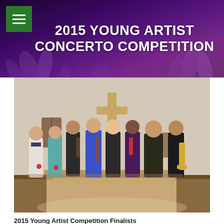2015 YOUNG ARTIST CONCERTO COMPETITION
[Figure (photo): Group photo of 2015 Young Artist Competition Finalists standing in a church/concert hall with a wooden cross visible in the background. Eight young musicians posing together, some holding instruments including violin and trombone.]
2015 Young Artist Competition Finalists
(L to R): Joseph Chimka III, Ellison Whitehead, Austin Kohn